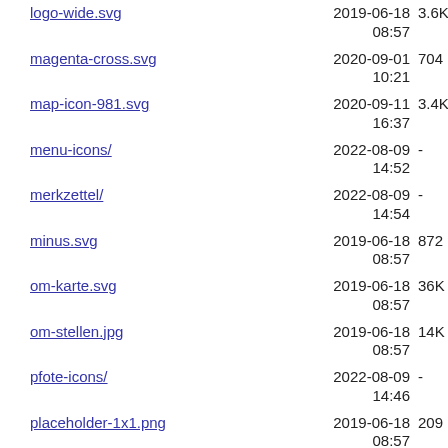logo-wide.svg  2019-06-18 08:57  3.6K
magenta-cross.svg  2020-09-01 10:21  704
map-icon-981.svg  2020-09-11 16:37  3.4K
menu-icons/  2022-08-09 14:52  -
merkzettel/  2022-08-09 14:54  -
minus.svg  2019-06-18 08:57  872
om-karte.svg  2019-06-18 08:57  36K
om-stellen.jpg  2019-06-18 08:57  14K
pfote-icons/  2022-08-09 14:46  -
placeholder-1x1.png  2019-06-18 08:57  209
placeholder-500x425.png  2019-06-18 08:57  211